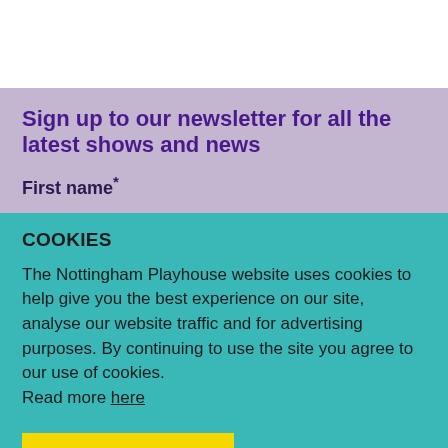Sign up to our newsletter for all the latest shows and news
First name*
COOKIES
The Nottingham Playhouse website uses cookies to help give you the best experience on our site, analyse our website traffic and for advertising purposes. By continuing to use the site you agree to our use of cookies. Read more here
Accept and close